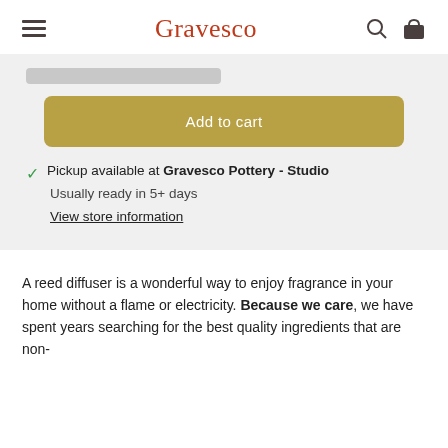Gravesco
[Figure (screenshot): Gray input/selection bar partially visible at top of product section]
Add to cart
✓ Pickup available at Gravesco Pottery - Studio
Usually ready in 5+ days
View store information
A reed diffuser is a wonderful way to enjoy fragrance in your home without a flame or electricity. Because we care, we have spent years searching for the best quality ingredients that are non-